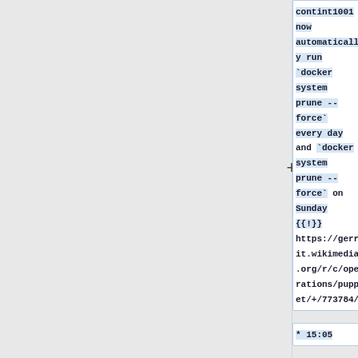contint1001 now automatically run `docker system prune --force` every day and `docker system prune --force` on Sunday {{!}} https://gerrit.wikimedia.org/r/c/operations/puppet/+/773784/
* 15:05